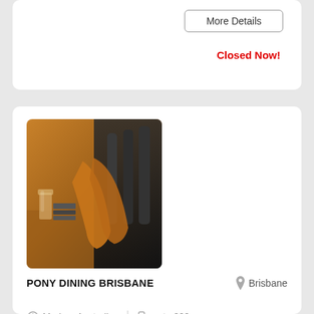More Details
Closed Now!
[Figure (photo): Interior photo of Pony Dining Brisbane restaurant showing wooden chairs and dark upholstery]
PONY DINING BRISBANE
Brisbane
Modern Australian  |  up to 200
up to 450  $$
Widely regarded as the pioneers of the wood fire grill, Pony Dining offers an honest flavour driven menu showcasing Australian produce and a carefully crafted boutique selection of wines with a cheeky